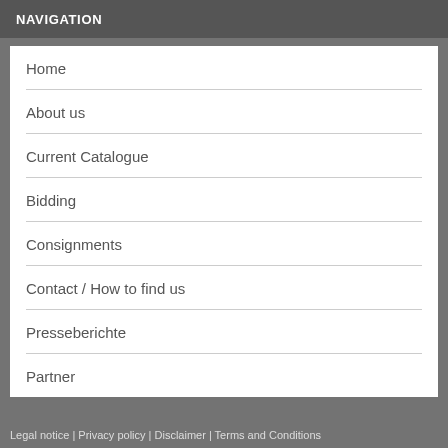NAVIGATION
Home
About us
Current Catalogue
Bidding
Consignments
Contact / How to find us
Presseberichte
Partner
Legal notice | Privacy policy | Disclaimer | Terms and Conditions